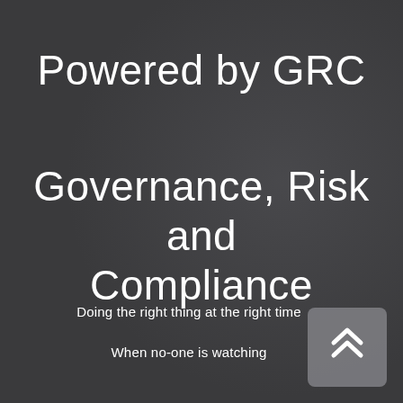Powered by GRC
Governance, Risk and Compliance
Doing the right thing at the right time
When no-one is watching
[Figure (illustration): A rounded square button with a double upward chevron arrow icon, used as a scroll-to-top button]